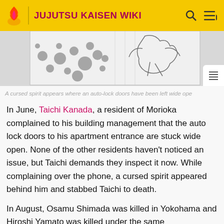JUJUTSU KAISEN WIKI
[Figure (illustration): Manga panel showing a cursed spirit appearing where auto-lock doors have been left wide open]
A cursed spirit appears where an auto-lock doors have been left wide ope…
In June, Taichi Kanada, a resident of Morioka complained to his building management that the auto lock doors to his apartment entrance are stuck wide open. None of the other residents haven't noticed an issue, but Taichi demands they inspect it now. While complaining over the phone, a cursed spirit appeared behind him and stabbed Taichi to death.
In August, Osamu Shimada was killed in Yokohama and Hiroshi Yamato was killed under the same circumstances as well in September while staying in Nagoya. Akari Nitta, Auxiliary Manager for Jujutsu High explains this to the…